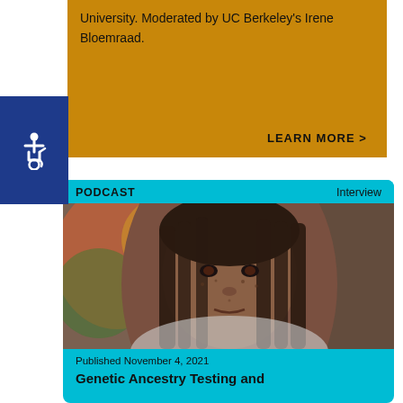University. Moderated by UC Berkeley's Irene Bloemraad.
LEARN MORE >
[Figure (other): Blue accessibility/wheelchair icon button on dark blue background]
PODCAST    Interview
[Figure (photo): Portrait photograph of a young Black woman with braids and freckles, wearing a white top, with colorful artwork visible in the background]
Published November 4, 2021
Genetic Ancestry Testing and